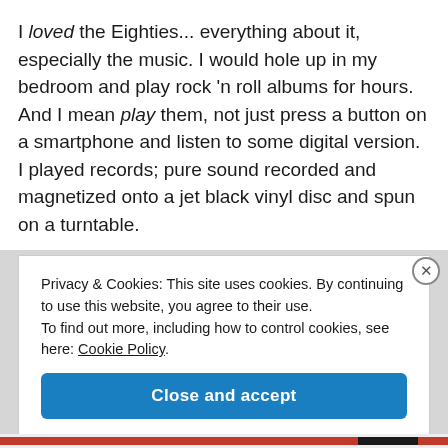I loved the Eighties... everything about it, especially the music. I would hole up in my bedroom and play rock 'n roll albums for hours. And I mean play them, not just press a button on a smartphone and listen to some digital version. I played records; pure sound recorded and magnetized onto a jet black vinyl disc and spun on a turntable.
I would carefully slide the vinyl record out from its
Privacy & Cookies: This site uses cookies. By continuing to use this website, you agree to their use.
To find out more, including how to control cookies, see here: Cookie Policy
Close and accept